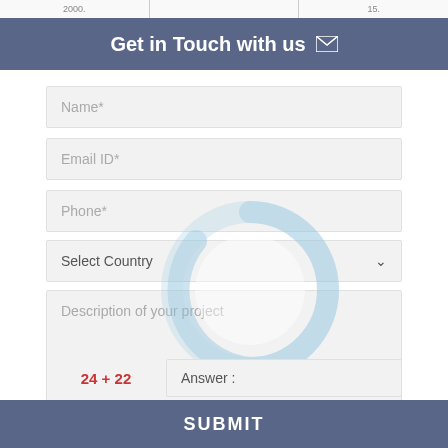2000.    15.
Get in Touch with us ✉
Name*
Email ID*
Phone*
Select Country
Description of your project
[Figure (other): Loading spinner / donut-shaped progress indicator in light blue]
24 + 22     Answer :
SUBMIT